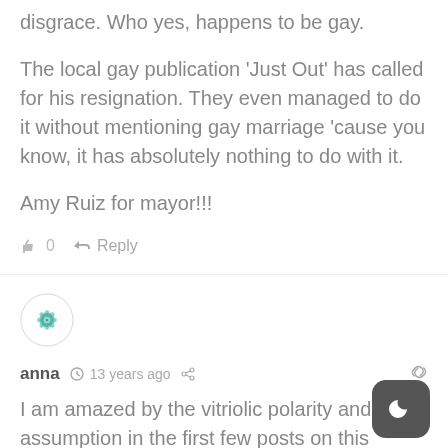disgrace. Who yes, happens to be gay.
The local gay publication ‘Just Out’ has called for his resignation. They even managed to do it without mentioning gay marriage ‘cause you know, it has absolutely nothing to do with it.
Amy Ruiz for mayor!!!
0  Reply
[Figure (illustration): Circular teal/green geometric avatar icon with floral/mandala pattern]
anna  13 years ago
I am amazed by the vitriolic polarity and the assumption in the first few posts on this article. It also seems very early in the process. I am still waiting for full and undisputed facts before I listen to